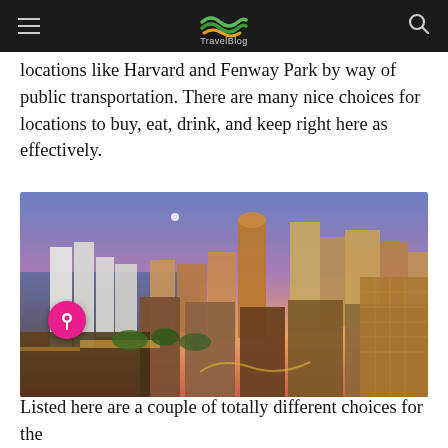TravelBlog
locations like Harvard and Fenway Park by way of public transportation. There are many nice choices for locations to buy, eat, drink, and keep right here as effectively.
[Figure (photo): Aerial cityscape of Boston at sunset/dusk showing the downtown skyline with modern skyscrapers, the waterfront harbor, illuminated streets and urban density]
Listed here are a couple of totally different choices for the